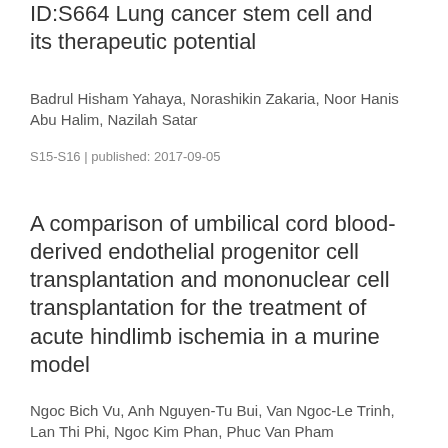ID:S664 Lung cancer stem cell and its therapeutic potential
Badrul Hisham Yahaya, Norashikin Zakaria, Noor Hanis Abu Halim, Nazilah Satar
S15-S16 | published: 2017-09-05
A comparison of umbilical cord blood-derived endothelial progenitor cell transplantation and mononuclear cell transplantation for the treatment of acute hindlimb ischemia in a murine model
Ngoc Bich Vu, Anh Nguyen-Tu Bui, Van Ngoc-Le Trinh, Lan Thi Phi, Ngoc Kim Phan, Phuc Van Pham